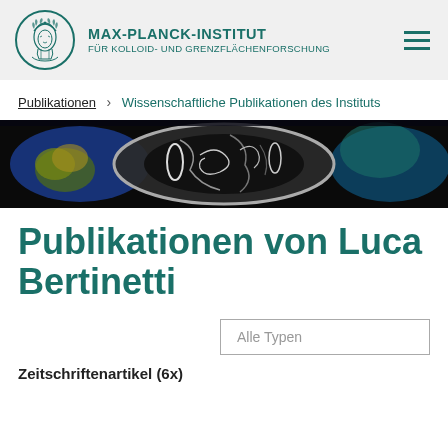MAX-PLANCK-INSTITUT FÜR KOLLOID- UND GRENZFLÄCHENFORSCHUNG
Publikationen > Wissenschaftliche Publikationen des Instituts
[Figure (photo): Microscopy image banner showing cross-section of a biological or mineralogical sample with blue, green, yellow, and grey colors on black background]
Publikationen von Luca Bertinetti
Alle Typen
Zeitschriftenartikel (6x)